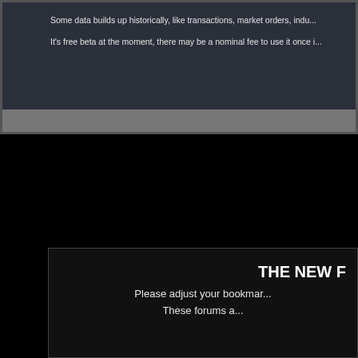Some data builds up historically, like transactions, market orders, indu...
It’s free beta at the moment, there may be a nominal fee to use it once i...
THE NEW F
Please adjust your bookmar...
These forums a...